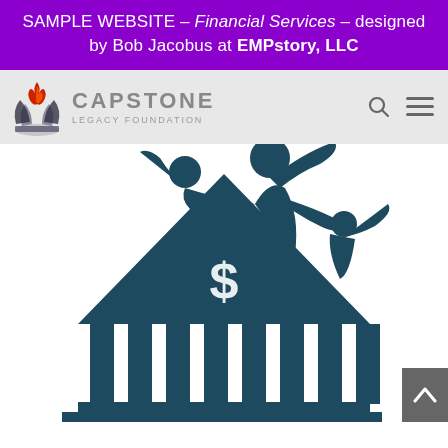SAMPLE WEBSITE – Financial Services – designed by Bob Jacobus at EMPstory, LLC
[Figure (logo): Capstone Legacy Foundation logo: flame and leaf/wing emblem in red and dark colors, with text CAPSTONE LEGACY FOUNDATION]
[Figure (illustration): Dark teal illustration of two adults and a child climbing atop a bank/temple building with a dollar sign, representing financial legacy planning]